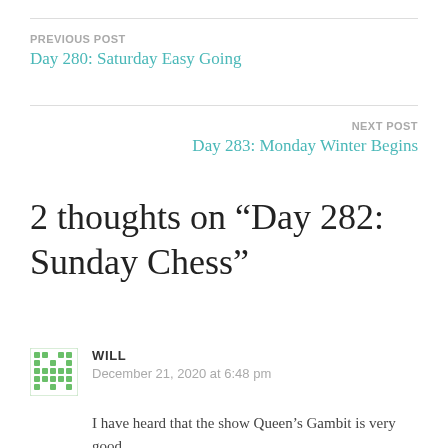PREVIOUS POST
Day 280: Saturday Easy Going
NEXT POST
Day 283: Monday Winter Begins
2 thoughts on “Day 282: Sunday Chess”
WILL
December 21, 2020 at 6:48 pm
I have heard that the show Queen’s Gambit is very good.